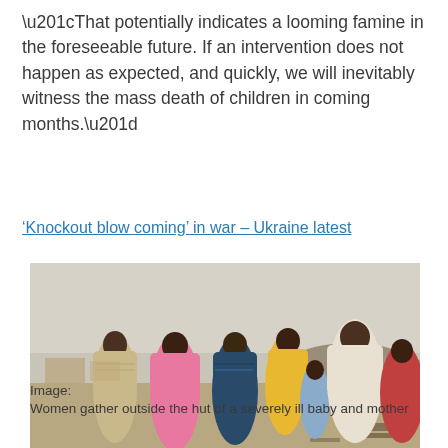“That potentially indicates a looming famine in the foreseeable future. If an intervention does not happen as expected, and quickly, we will inevitably witness the mass death of children in coming months.”
‘Knockout blow coming’ in war – Ukraine latest
[Figure (photo): Group of women wearing colorful headscarves and robes standing together outdoors in a dry, arid landscape with scattered debris and hills in the background.]
Image:
Women gather outside the hut of a severely ill baby and mother